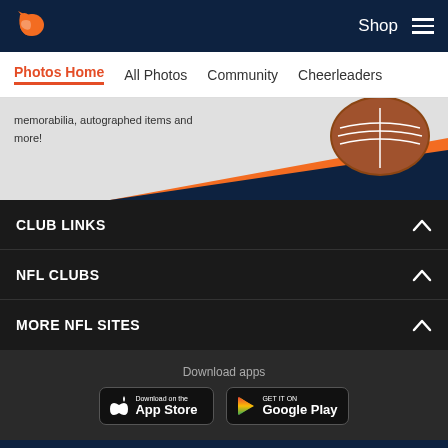[Figure (logo): Denver Broncos logo in header (white/orange horse)]
Shop
[Figure (illustration): Hamburger menu icon]
Photos Home  All Photos  Community  Cheerleaders
[Figure (photo): Promotional banner with football and orange/navy diagonal stripe, text: memorabilia, autographed items and more!]
CLUB LINKS
NFL CLUBS
MORE NFL SITES
Download apps
[Figure (other): App Store download button]
[Figure (other): Google Play download button]
[Figure (logo): Denver Broncos logo in footer]